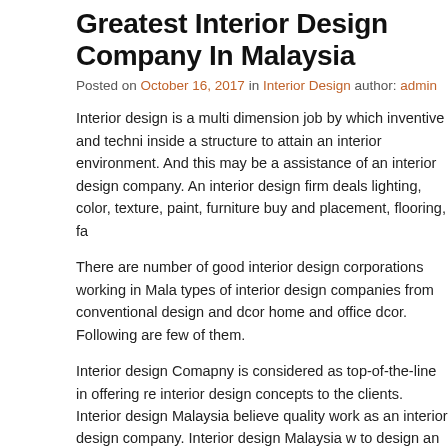Greatest Interior Design Company In Malaysia
Posted on October 16, 2017 in Interior Design author: admin
Interior design is a multi dimension job by which inventive and techni inside a structure to attain an interior environment. And this may be a assistance of an interior design company. An interior design firm deals lighting, color, texture, paint, furniture buy and placement, flooring, fa
There are number of good interior design corporations working in Mala types of interior design companies from conventional design and dcor home and office dcor. Following are few of them.
Interior design Comapny is considered as top-of-the-line in offering re interior design concepts to the clients. Interior design Malaysia believe quality work as an interior design company. Interior design Malaysia w to design an setting which is exclusive as their very own individual per best companies to their shoppers, Interior Design Malaysia works colle Their intention as an interior design company is to offer and impleme which ensuing a house or working place of dreams.
It's a speciality of Interior Design Malaysia to offer the most effective c formulating the design solution. There are a lot of elements concerne